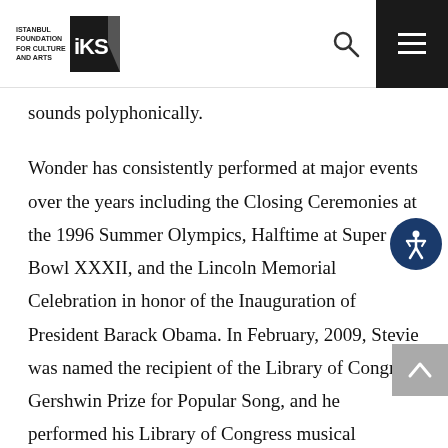Istanbul Foundation for Culture and Arts iKSV
sounds polyphonically.
Wonder has consistently performed at major events over the years including the Closing Ceremonies at the 1996 Summer Olympics, Halftime at Super Bowl XXXII, and the Lincoln Memorial Celebration in honor of the Inauguration of President Barack Obama. In February, 2009, Stevie was named the recipient of the Library of Congress Gershwin Prize for Popular Song, and he performed his Library of Congress musical commission, "Sketches Of A Life;" he joins a very select group of eminent composers who have received Library commissions, ranging from Aaron Copeland and